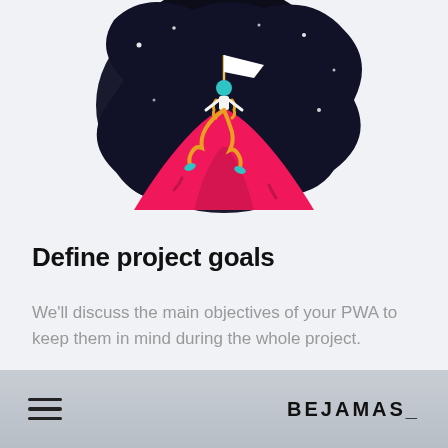[Figure (illustration): Illustration of a figure climbing a mountain peak at night, planting a flag. The background is a dark blob shape with stars, the mountain peak is pink/red, and the figure has a teal head and golden/curly trail behind it.]
Define project goals
We'll discuss the main objectives of your PWA to keep them in mind during the whole project.
BEJAMAS_